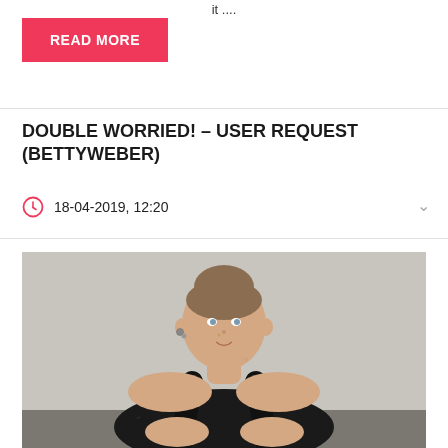it ....
READ MORE
DOUBLE WORRIED! - USER REQUEST (BETTYWEBER)
18-04-2019, 12:20
[Figure (photo): Young woman with hair up, wearing a black tank top, sitting and posing, with tattoos visible on neck and arm]